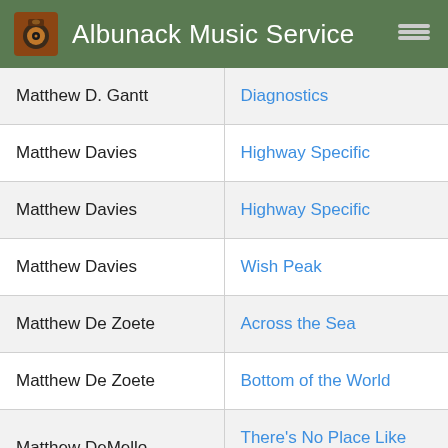Albunack Music Service
| Artist | Album |
| --- | --- |
| Matthew D. Gantt | Diagnostics |
| Matthew Davies | Highway Specific |
| Matthew Davies | Highway Specific |
| Matthew Davies | Wish Peak |
| Matthew De Zoete | Across the Sea |
| Matthew De Zoete | Bottom of the World |
| Matthew DeMello | There's No Place Like Nowhere |
| Matthew Dear | Backstroke 2 |